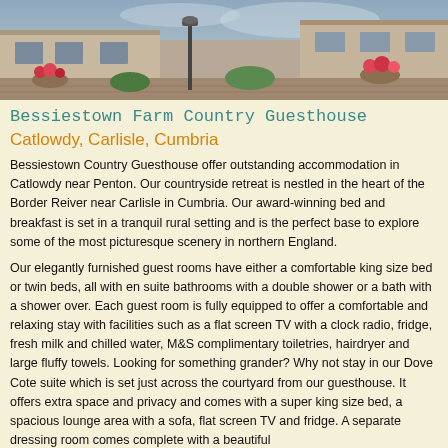[Figure (photo): Exterior photo of Bessiestown Farm Country Guesthouse showing a courtyard with stone buildings, a lamp post, flower pots with red flowers, and a brick paved area.]
Bessiestown Farm Country Guesthouse
Catlowdy, Carlisle, Cumbria
Bessiestown Country Guesthouse offer outstanding accommodation in Catlowdy near Penton. Our countryside retreat is nestled in the heart of the Border Reiver near Carlisle in Cumbria. Our award-winning bed and breakfast is set in a tranquil rural setting and is the perfect base to explore some of the most picturesque scenery in northern England.
Our elegantly furnished guest rooms have either a comfortable king size bed or twin beds, all with en suite bathrooms with a double shower or a bath with a shower over. Each guest room is fully equipped to offer a comfortable and relaxing stay with facilities such as a flat screen TV with a clock radio, fridge, fresh milk and chilled water, M&S complimentary toiletries, hairdryer and large fluffy towels. Looking for something grander? Why not stay in our Dove Cote suite which is set just across the courtyard from our guesthouse. It offers extra space and privacy and comes with a super king size bed, a spacious lounge area with a sofa, flat screen TV and fridge. A separate dressing room comes complete with a beautiful